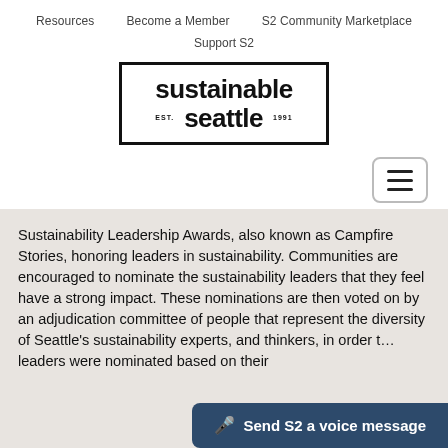Resources   Become a Member   S2 Community Marketplace   Support S2
[Figure (logo): Sustainable Seattle logo in a rectangular border, with text 'sustainable seattle EST. 1991']
[Figure (other): Hamburger menu button with three horizontal lines in a rounded rectangle]
Sustainability Leadership Awards, also known as Campfire Stories, honoring leaders in sustainability. Communities are encouraged to nominate the sustainability leaders that they feel have a strong impact. These nominations are then voted on by an adjudication committee of people that represent the diversity of Seattle's sustainability experts, and thinkers, in order t… leaders were nominated based on their
Send S2 a voice message